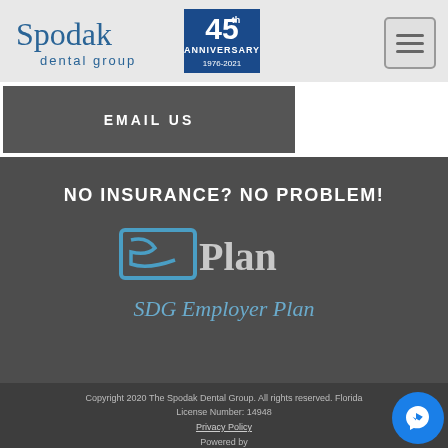[Figure (logo): Spodak Dental Group logo with 45th Anniversary badge (1976-2021)]
EMAIL US
NO INSURANCE? NO PROBLEM!
[Figure (logo): SDGPlan logo - stylized SDG icon in blue followed by 'Plan' in gray]
SDG Employer Plan
Copyright 2020 The Spodak Dental Group. All rights reserved. Florida License Number: 14948
Privacy Policy
Powered by
[Figure (other): Facebook Messenger chat button (blue circle with lightning bolt icon)]